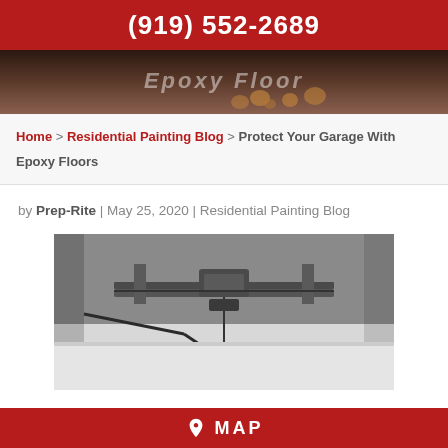(919) 552-2689
[Figure (photo): Hero image showing epoxy floor with water droplets, partially obscured text reading 'Epoxy Floor']
Home > Residential Painting Blog > Protect Your Garage With Epoxy Floors
by Prep-Rite | May 25, 2020 | Residential Painting Blog
[Figure (photo): Interior garage photo showing ceiling structure with metal tracks and garage door opener mechanism]
MAP